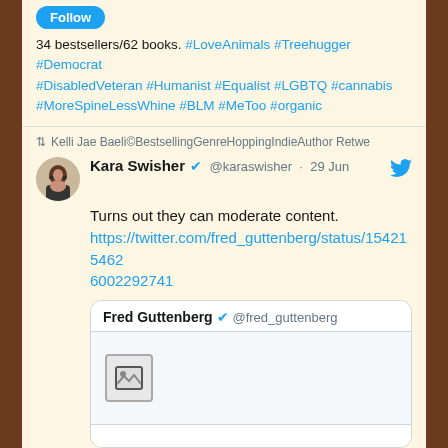Follow
34 bestsellers/62 books. #LoveAnimals #Treehugger #Democrat #DisabledVeteran #Humanist #Equalist #LGBTQ #cannabis #MoreSpineLessWhine #BLM #MeToo #organic
Kelli Jae Baeli©BestsellingGenreHoppingIndieAuthor Retwe
Kara Swisher @karaswisher · 29 Jun
Turns out they can moderate content. https://twitter.com/fred_guttenberg/status/1542154626002292741
Fred Guttenberg @fred_guttenberg
[Figure (other): Image placeholder icon inside quoted tweet box]
19339 retweets, 71897 likes, Twitter
Kelli Jae